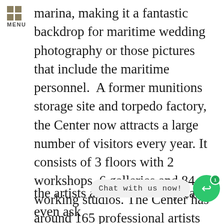MENU
marina, making it a fantastic backdrop for maritime wedding photography or those pictures that include the maritime personnel.  A former munitions storage site and torpedo factory, the Center now attracts a large number of visitors every year. It consists of 3 floors with 2 workshops, 6 galleries and 84 working studios. The Center has around 165 professional artists who create varied artworks, from sculpture, printmaking, fiber, stained glass, jewelry, photography, ceramics, pottery and painting. Th… va… the artists at work and they can even ask